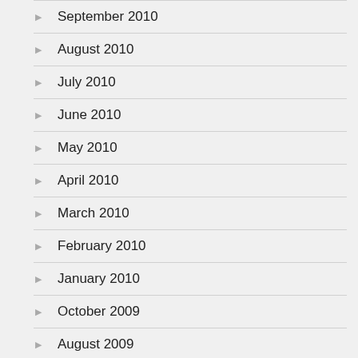September 2010
August 2010
July 2010
June 2010
May 2010
April 2010
March 2010
February 2010
January 2010
October 2009
August 2009